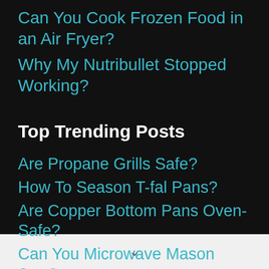Can You Cook Frozen Food in an Air Fryer?
Why My Nutribullet Stopped Working?
Top Trending Posts
Are Propane Grills Safe?
How To Season T-fal Pans?
Are Copper Bottom Pans Oven-Safe?
Can You Microwave Mason Jars?
Can You Put Aluminum Foil in a Slow Cooker